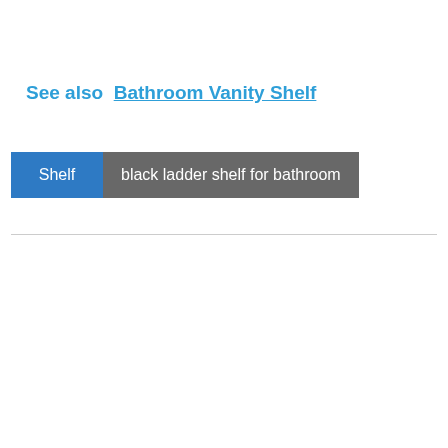See also  Bathroom Vanity Shelf
Shelf  black ladder shelf for bathroom